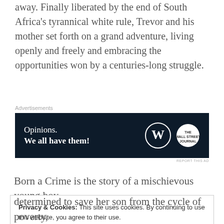away. Finally liberated by the end of South Africa's tyrannical white rule, Trevor and his mother set forth on a grand adventure, living openly and freely and embracing the opportunities won by a centuries-long struggle.
[Figure (other): Advertisement banner with dark navy background showing 'Opinions. We all have them!' text alongside WordPress and WSJ logos]
Born a Crime is the story of a mischievous young boy
Privacy & Cookies: This site uses cookies. By continuing to use this website, you agree to their use. To find out more, including how to control cookies, see here: Cookie Policy
determined to save her son from the cycle of poverty,